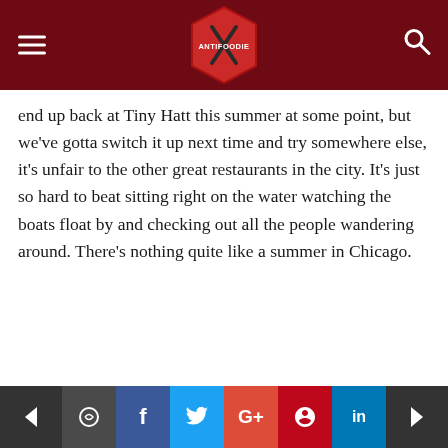ANTIFOODIE
end up back at Tiny Hatt this summer at some point, but we've gotta switch it up next time and try somewhere else, it's unfair to the other great restaurants in the city. It's just so hard to beat sitting right on the water watching the boats float by and checking out all the people wandering around. There's nothing quite like a summer in Chicago.
[Figure (logo): Antifoodie logo hexagon with crossed fork and knife]
antifoodiex
[Figure (photo): Partial image of food at bottom of page]